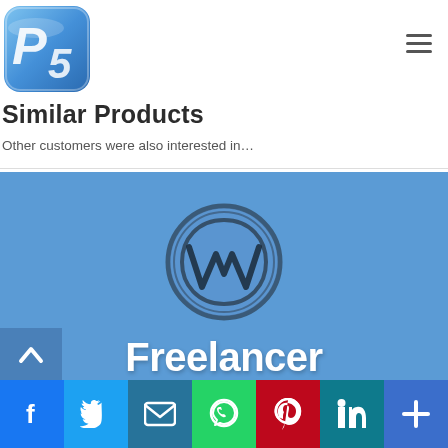[Figure (logo): P5 logo — blue rounded square with white stylized 'P5' lettering]
Similar Products
Other customers were also interested in…
[Figure (illustration): Blue banner with WordPress logo (W in circle) and text 'Freelancer Plugin' in white bold letters on blue background]
[Figure (infographic): Social share bar at bottom: Facebook (blue), Twitter (light blue), Mail (dark blue/teal), WhatsApp (green), Pinterest (red), LinkedIn (teal), More/Plus (blue)]